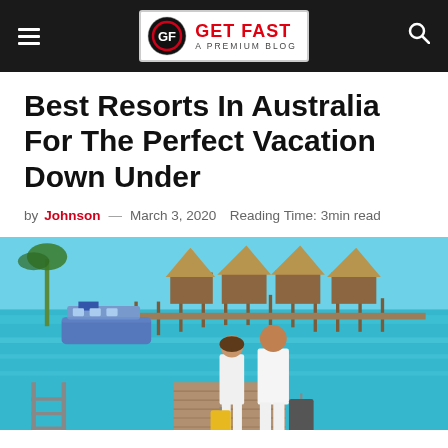GET FAST - A PREMIUM BLOG
Best Resorts In Australia For The Perfect Vacation Down Under
by Johnson — March 3, 2020  Reading Time: 3min read
[Figure (photo): A couple with luggage walking on a wooden pier toward overwater bungalows and a boat on turquoise tropical water]